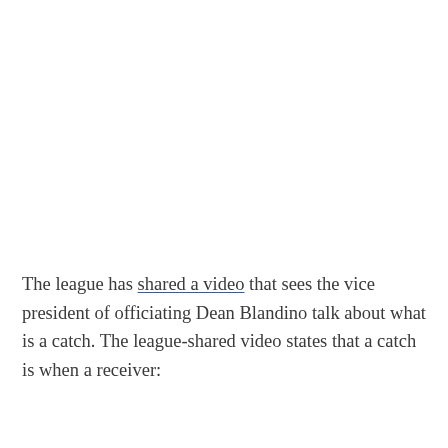The league has shared a video that sees the vice president of officiating Dean Blandino talk about what is a catch. The league-shared video states that a catch is when a receiver: